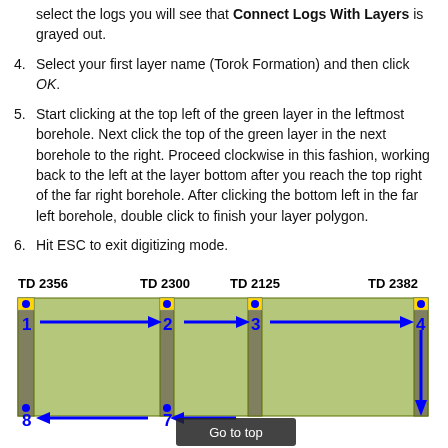select the logs you will see that Connect Logs With Layers is grayed out.
4. Select your first layer name (Torok Formation) and then click OK.
5. Start clicking at the top left of the green layer in the leftmost borehole. Next click the top of the green layer in the next borehole to the right. Proceed clockwise in this fashion, working back to the left at the layer bottom after you reach the top right of the far right borehole. After clicking the bottom left in the far left borehole, double click to finish your layer polygon.
6. Hit ESC to exit digitizing mode.
[Figure (illustration): Diagram showing four boreholes labeled TD 2356, TD 2300, TD 2125, TD 2382 with numbered click points 1-8 connected by blue arrows indicating clockwise digitizing direction around a green layer polygon. A 'Go to top' button is visible at the bottom center.]